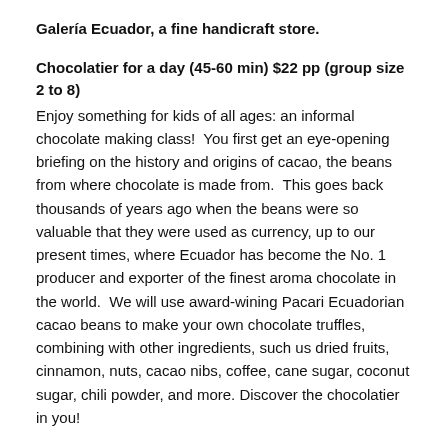Galería Ecuador, a fine handicraft store.
Chocolatier for a day (45-60 min) $22 pp (group size 2 to 8)
Enjoy something for kids of all ages: an informal chocolate making class!  You first get an eye-opening briefing on the history and origins of cacao, the beans from where chocolate is made from.  This goes back thousands of years ago when the beans were so valuable that they were used as currency, up to our present times, where Ecuador has become the No. 1 producer and exporter of the finest aroma chocolate in the world.  We will use award-wining Pacari Ecuadorian cacao beans to make your own chocolate truffles, combining with other ingredients, such us dried fruits, cinnamon, nuts, cacao nibs, coffee, cane sugar, coconut sugar, chili powder, and more. Discover the chocolatier in you!
Traditional corn tortillas (45-60 min) $27 pp (group size 2 to 15)
We will use kitchen utensils from 18th century Quito to prepare your own traditional corn tortillas  Fill your delectable tortillas with cheese, onions and annatto (a rare